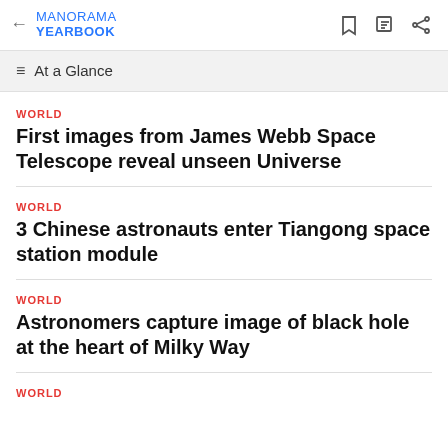MANORAMA YEARBOOK
At a Glance
WORLD
First images from James Webb Space Telescope reveal unseen Universe
WORLD
3 Chinese astronauts enter Tiangong space station module
WORLD
Astronomers capture image of black hole at the heart of Milky Way
WORLD